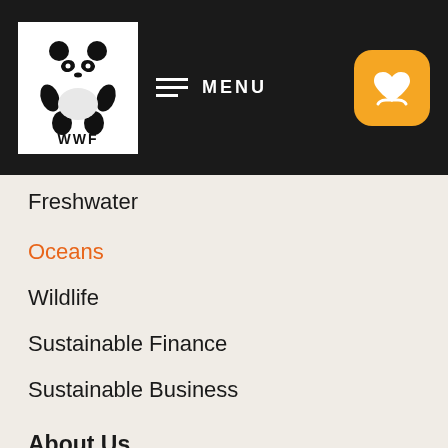WWF MENU
Freshwater
Oceans
Wildlife
Sustainable Finance
Sustainable Business
About Us
Work With Us
About WWF
Chairman & CEO Note
Board and Leadership
Senior Management
Whistleblowing Policy